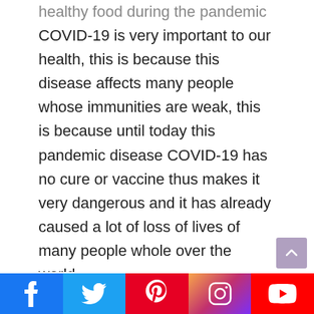healthy food during the pandemic COVID-19 is very important to our health, this is because this disease affects many people whose immunities are weak, this is because until today this pandemic disease COVID-19 has no cure or vaccine thus makes it very dangerous and it has already caused a lot of loss of lives of many people whole over the world.

the only way to fight this pandemic
Social media share bar: Facebook, Twitter, Pinterest, Instagram, YouTube